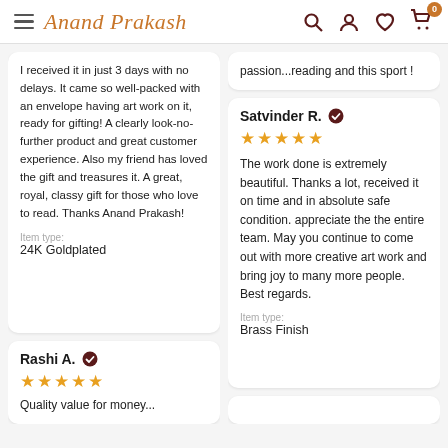Anand Prakash — navigation header with hamburger menu, brand name, search, account, wishlist, and cart icons
I received it in just 3 days with no delays. It came so well-packed with an envelope having art work on it, ready for gifting! A clearly look-no-further product and great customer experience. Also my friend has loved the gift and treasures it. A great, royal, classy gift for those who love to read. Thanks Anand Prakash!

Item type:
24K Goldplated
passion...reading and this sport !
Satvinder R. ✓
★★★★★
The work done is extremely beautiful. Thanks a lot, received it on time and in absolute safe condition. appreciate the the entire team. May you continue to come out with more creative art work and bring joy to many more people. Best regards.

Item type:
Brass Finish
Rashi A. ✓
★★★★★
Quality value for money...